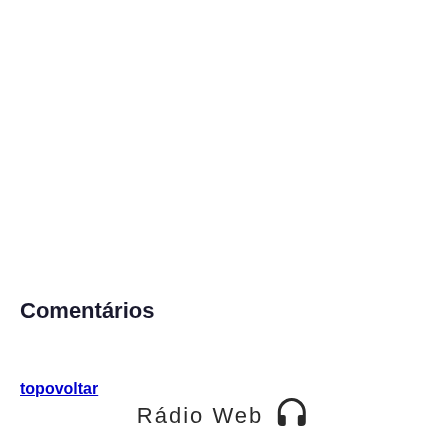Comentários
topovoltar
Rádio Web 🎧